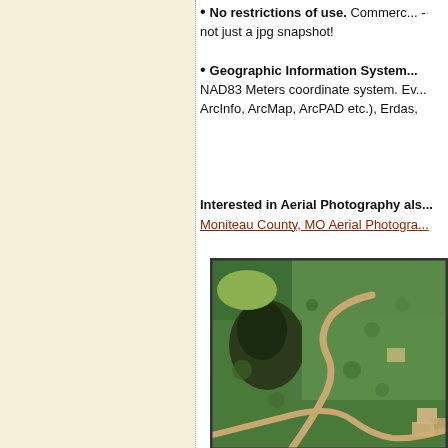No restrictions of use. Commerc... - not just a jpg snapshot!
Geographic Information System... NAD83 Meters coordinate system. Ev... ArcInfo, ArcMap, ArcPAD etc.), Erdas,
Interested in Aerial Photography als... Moniteau County, MO Aerial Photogra...
[Figure (photo): Aerial photograph showing forested and agricultural land with a winding dirt road/path cutting through dense green tree canopy, with some cleared areas and structures visible in the lower right corner.]